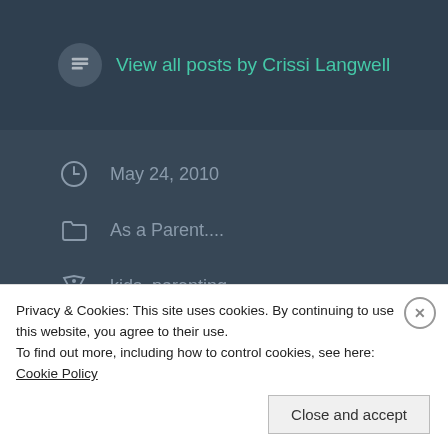View all posts by Crissi Langwell
May 24, 2010
As a Parent....
kids, parenting
Is it mean to punish kids with chores?
Passing the Cannabis Cup
Privacy & Cookies: This site uses cookies. By continuing to use this website, you agree to their use.
To find out more, including how to control cookies, see here: Cookie Policy
Close and accept